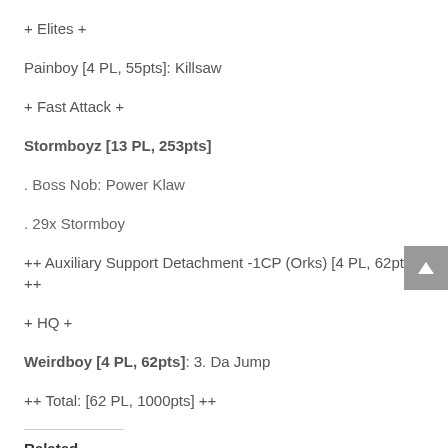+ Elites +
Painboy [4 PL, 55pts]: Killsaw
+ Fast Attack +
Stormboyz [13 PL, 253pts]
. Boss Nob: Power Klaw
. 29x Stormboy
++ Auxiliary Support Detachment -1CP (Orks) [4 PL, 62pts] ++
+ HQ +
Weirdboy [4 PL, 62pts]: 3. Da Jump
++ Total: [62 PL, 1000pts] ++
Related